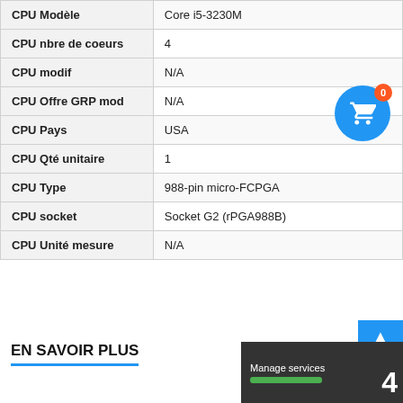| Attribut | Valeur |
| --- | --- |
| CPU Modèle | Core i5-3230M |
| CPU nbre de coeurs | 4 |
| CPU modif | N/A |
| CPU Offre GRP mod | N/A |
| CPU Pays | USA |
| CPU Qté unitaire | 1 |
| CPU Type | 988-pin micro-FCPGA |
| CPU socket | Socket G2 (rPGA988B) |
| CPU Unité mesure | N/A |
EN SAVOIR PLUS